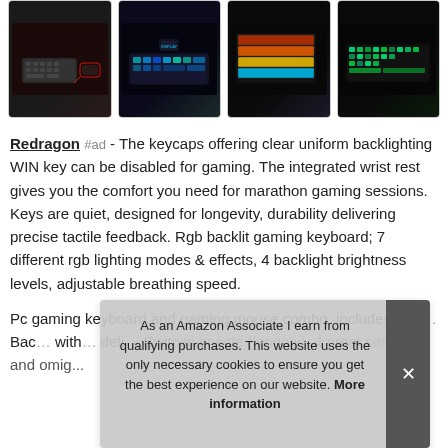[Figure (photo): Four product images of gaming keyboards and mice, shown in a horizontal row with dark backgrounds]
Redragon #ad - The keycaps offering clear uniform backlighting WIN key can be disabled for gaming. The integrated wrist rest gives you the comfort you need for marathon gaming sessions. Keys are quiet, designed for longevity, durability delivering precise tactile feedback. Rgb backlit gaming keyboard; 7 different rgb lighting modes & effects, 4 backlight brightness levels, adjustable breathing speed.
Pc gaming keyboard and gaming mouse combo: includes redr... Bac... with... deli... Swit...
As an Amazon Associate I earn from qualifying purchases. This website uses the only necessary cookies to ensure you get the best experience on our website. More information